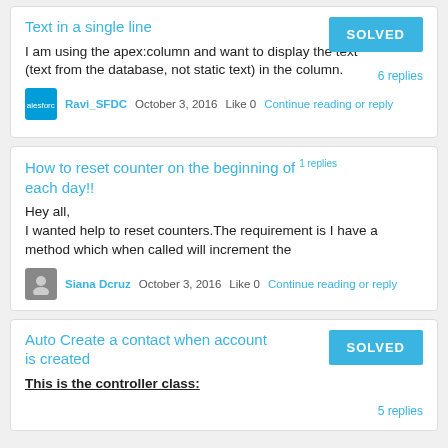Text in a single line
I am using the apex:column and want to display the text (text from the database, not static text) in the column.
SOLVED  6 replies
Ravi_SFDC  October 3, 2016  Like 0  Continue reading or reply
How to reset counter on the beginning of each day!!
1 replies
Hey all,
I wanted help to reset counters.The requirement is I have a method which when called will increment the
Siana Dcruz  October 3, 2016  Like 0  Continue reading or reply
Auto Create a contact when account is created
SOLVED  5 replies
This is the controller class: